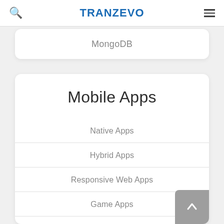TRANZEVO
MongoDB
Mobile Apps
Native Apps
Hybrid Apps
Responsive Web Apps
Game Apps
App Store Management